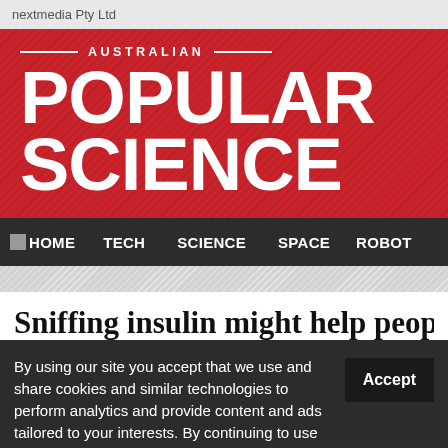nextmedia Pty Ltd
[Figure (logo): Australian Popular Science magazine logo on red textured background with large bold white text]
HOME   TECH   SCIENCE   SPACE   ROBOTS
Sniffing insulin might help people eat l
By using our site you accept that we use and share cookies and similar technologies to perform analytics and provide content and ads tailored to your interests. By continuing to use our site, you consent to this. Please see our Cookie Policy for more information.